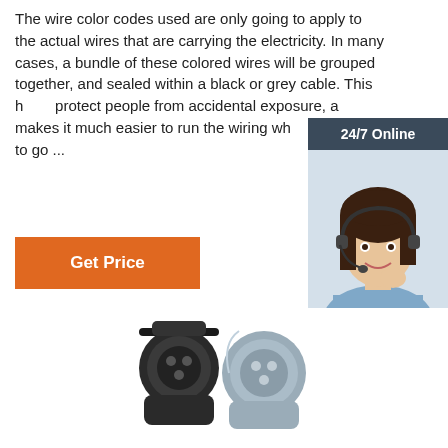The wire color codes used are only going to apply to the actual wires that are carrying the electricity. In many cases, a bundle of these colored wires will be grouped together, and sealed within a black or grey cable. This h... protect people from accidental exposure, a... makes it much easier to run the wiring whe... needs to go ...
[Figure (other): Customer service chat widget showing '24/7 Online' header, a woman wearing a headset smiling, 'Click here for free chat!' text, and a QUOTATION orange button, on dark blue-grey background]
Get Price
[Figure (photo): Two electrical connectors/sockets, one black and one grey, shown at the bottom of the page]